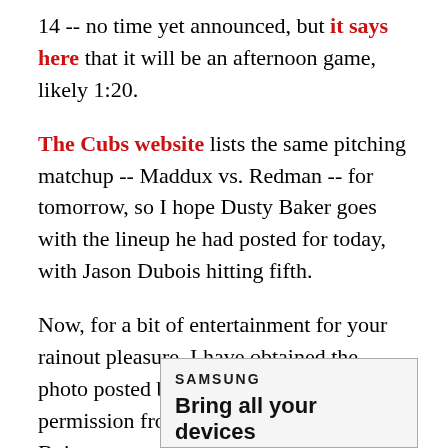14 -- no time yet announced, but it says here that it will be an afternoon game, likely 1:20.
The Cubs website lists the same pitching matchup -- Maddux vs. Redman -- for tomorrow, so I hope Dusty Baker goes with the lineup he had posted for today, with Jason Dubois hitting fifth.
Now, for a bit of entertainment for your rainout pleasure. I have obtained the photo posted below, and received permission from the photographer, Will Byington, to post it here in exchange for this plug for Will's photography website -- which does indeed have some really cool baseball shots. Check it out.
[Figure (other): Samsung advertisement banner with bold text 'SAMSUNG' and tagline 'Bring all your devices']